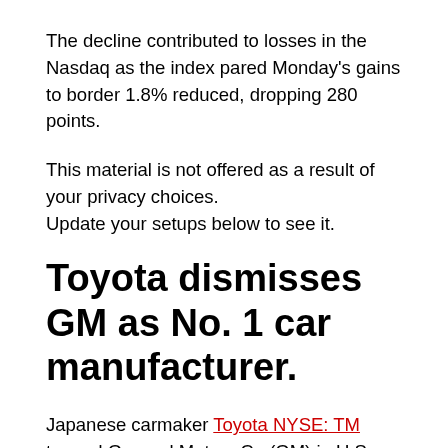The decline contributed to losses in the Nasdaq as the index pared Monday's gains to border 1.8% reduced, dropping 280 points.
This material is not offered as a result of your privacy choices.
Update your setups below to see it.
Toyota dismisses GM as No. 1 car manufacturer.
Japanese carmaker Toyota NYSE: TM  topped General Motors Co (GM) in U.S. sales last year, unseating the Detroit-based vehicle business as the most admired vehicle brand for the first...